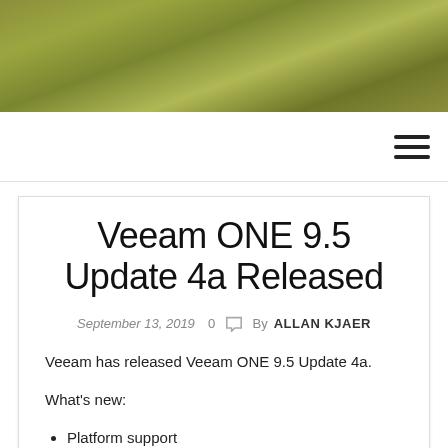[Figure (photo): Olive/khaki green textured background image used as a website header banner]
Navigation bar with hamburger menu icon
Veeam ONE 9.5 Update 4a Released
September 13, 2019  0  By ALLAN KJAER
Veeam has released Veeam ONE 9.5 Update 4a.
What's new:
Platform support